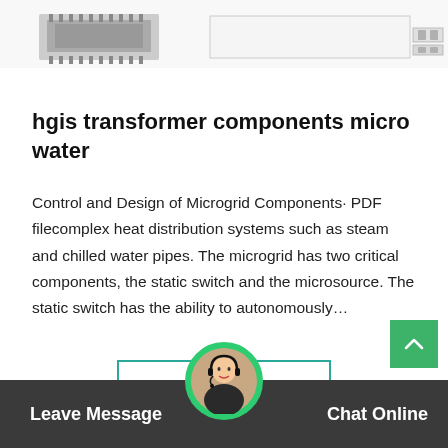[Figure (photo): Two product images at top: left shows a dark grey component (chip/connector), right shows a white rectangular unit with small components visible on the right side.]
hgis transformer components micro water
Control and Design of Microgrid Components· PDF filecomplex heat distribution systems such as steam and chilled water pipes. The microgrid has two critical components, the static switch and the microsource. The static switch has the ability to autonomously…
Get Price
[Figure (photo): Circular avatar/headset customer service representative icon with green border]
Leave Message   Chat Online